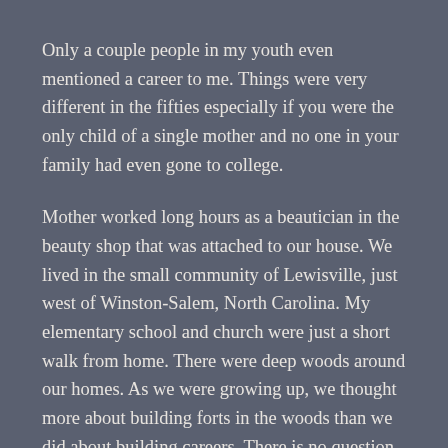Only a couple people in my youth even mentioned a career to me. Things were very different in the fifties especially if you were the only child of a single mother and no one in your family had even gone to college.
Mother worked long hours as a beautician in the beauty shop that was attached to our house. We lived in the small community of Lewisville, just west of Winston-Salem, North Carolina. My elementary school and church were just a short walk from home. There were deep woods around our homes. As we were growing up, we thought more about building forts in the woods than we did about building careers. There is no question that I enjoyed my childhood in spite of its share of challenges.